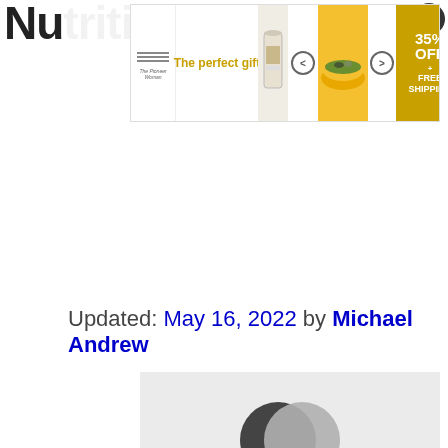Nu...es
[Figure (screenshot): Advertisement banner: The Pioneer Woman brand logo, text 'The perfect gift', image of cookbook/canister, navigation arrows, image of yellow bowl with food, '35% OFF + FREE SHIPPING' promotion block in gold]
[Figure (illustration): Close (X) button in dark circle, top right corner]
Updated: May 16, 2022 by Michael Andrew
[Figure (photo): Partial photo at bottom showing two overlapping circles (dark and light gray), on a light gray background]